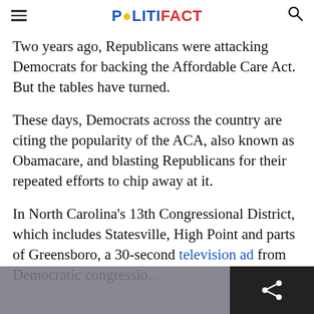POLITIFACT
Two years ago, Republicans were attacking Democrats for backing the Affordable Care Act. But the tables have turned.
These days, Democrats across the country are citing the popularity of the ACA, also known as Obamacare, and blasting Republicans for their repeated efforts to chip away at it.
In North Carolina's 13th Congressional District, which includes Statesville, High Point and parts of Greensboro, a 30-second television ad from Democratic congressio…